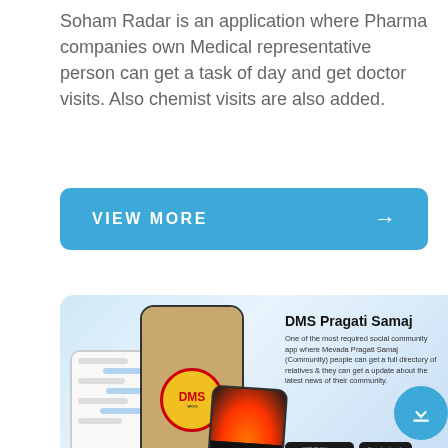Soham Radar is an application where Pharma companies own Medical representative person can get a task of day and get doctor visits. Also chemist visits are also added.
[Figure (screenshot): Blue rounded rectangle button with white text VIEW MORE and right arrow]
[Figure (screenshot): App card showing DMS Pragati Samaj app with phone mockups, app description, Google Play and App Store badges, and a download FAB button]